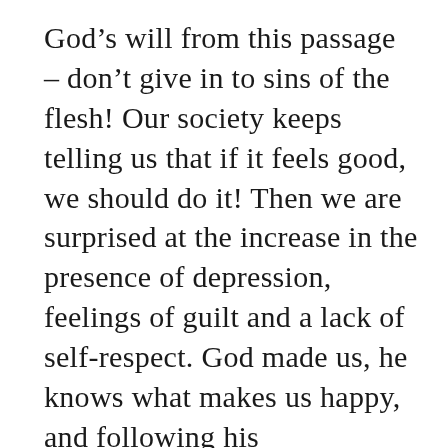God's will from this passage – don't give in to sins of the flesh! Our society keeps telling us that if it feels good, we should do it! Then we are surprised at the increase in the presence of depression, feelings of guilt and a lack of self-respect. God made us, he knows what makes us happy, and following his commandments, trying to do his will, is the way to happiness in this world as well as in